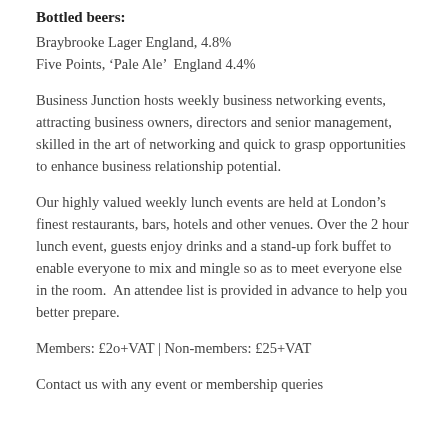Bottled beers:
Braybrooke Lager England, 4.8%
Five Points, 'Pale Ale'  England 4.4%
Business Junction hosts weekly business networking events, attracting business owners, directors and senior management, skilled in the art of networking and quick to grasp opportunities to enhance business relationship potential.
Our highly valued weekly lunch events are held at London's finest restaurants, bars, hotels and other venues. Over the 2 hour lunch event, guests enjoy drinks and a stand-up fork buffet to enable everyone to mix and mingle so as to meet everyone else in the room.  An attendee list is provided in advance to help you better prepare.
Members: £2o+VAT | Non-members: £25+VAT
Contact us with any event or membership queries